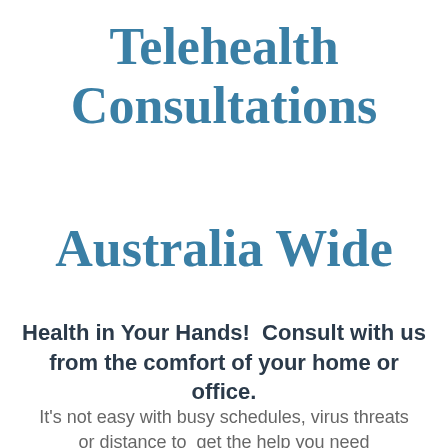Telehealth Consultations Australia Wide
Health in Your Hands!  Consult with us from the comfort of your home or office.
It's not easy with busy schedules, virus threats or distance to  get the help you need